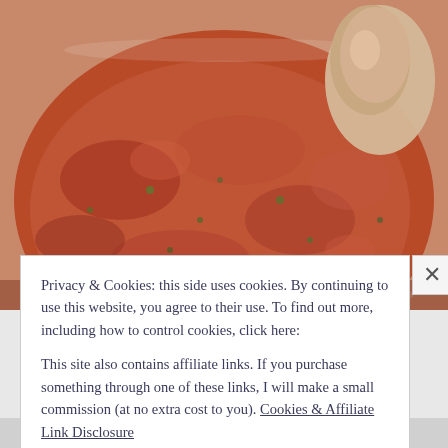[Figure (photo): Close-up photograph of reddish-brown tomato salsa or sauce in a glass bowl, with a wooden spoon or pestle visible at the top right. The sauce has visible herbs and chunky texture.]
Privacy & Cookies: this side uses cookies. By continuing to use this website, you agree to their use. To find out more, including how to control cookies, click here:

This site also contains affiliate links. If you purchase something through one of these links, I will make a small commission (at no extra cost to you). Cookies & Affiliate Link Disclosure
Close and accept